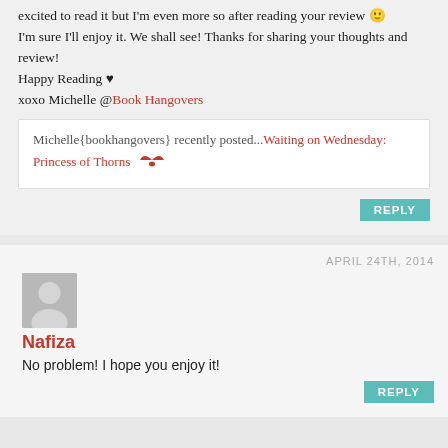excited to read it but I'm even more so after reading your review 🙂
I'm sure I'll enjoy it. We shall see! Thanks for sharing your thoughts and review!
Happy Reading ♥
xoxo Michelle @Book Hangovers
Michelle{bookhangovers} recently posted...Waiting on Wednesday: Princess of Thorns
REPLY
APRIL 24TH, 2014
[Figure (illustration): Generic avatar placeholder icon showing a silhouette of a person on a grey background]
Nafiza
No problem! I hope you enjoy it!
REPLY